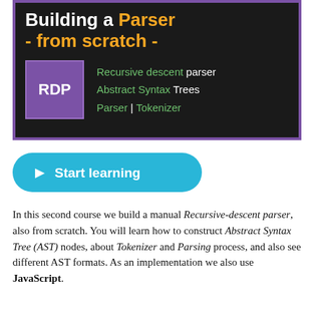[Figure (illustration): Course banner with dark background and purple border. Shows 'Building a Parser - from scratch -' title in white and orange text. Features a purple square with 'RDP' in white, alongside green and white text listing: 'Recursive descent parser', 'Abstract Syntax Trees', 'Parser | Tokenizer'.]
[Figure (illustration): Cyan/teal rounded button with a play triangle icon and white text 'Start learning']
In this second course we build a manual Recursive-descent parser, also from scratch. You will learn how to construct Abstract Syntax Tree (AST) nodes, about Tokenizer and Parsing process, and also see different AST formats. As an implementation we also use JavaScript.